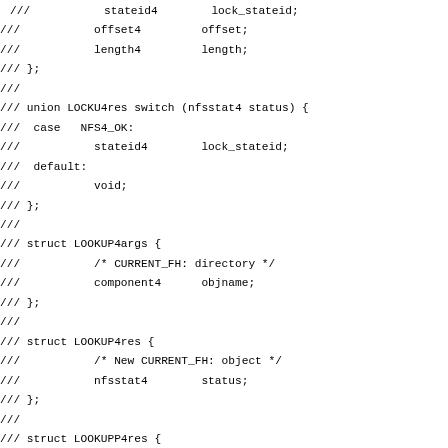///           stateid4        lock_stateid;
///           offset4         offset;
///           length4         length;
/// };
///
/// union LOCKU4res switch (nfsstat4 status) {
///  case   NFS4_OK:
///           stateid4        lock_stateid;
///  default:
///           void;
/// };
///
/// struct LOOKUP4args {
///           /* CURRENT_FH: directory */
///           component4      objname;
/// };
///
/// struct LOOKUP4res {
///           /* New CURRENT_FH: object */
///           nfsstat4        status;
/// };
///
/// struct LOOKUPP4res {
///           /* new CURRENT_FH: parent directory */
///           nfsstat4        status;
/// };
///
/// struct NVERIFY4args {
///           /* CURRENT_FH: object */
///           fattr4          obj_attributes;